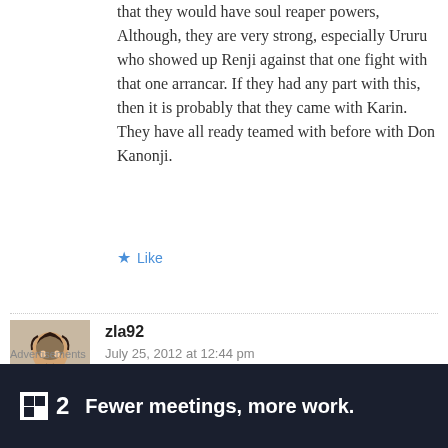that they would have soul reaper powers, Although, they are very strong, especially Ururu who showed up Renji against that one fight with that one arrancar. If they had any part with this, then it is probably that they came with Karin. They have all ready teamed with before with Don Kanonji.
★ Like
zla92
July 25, 2012 at 12:44 pm
So you think two kids tore apart the commander of the first Jagdarmee and
Advertisements
[Figure (infographic): Dark advertisement banner with Fewer meetings, more work. tagline and logo showing a small square icon with the number 2]